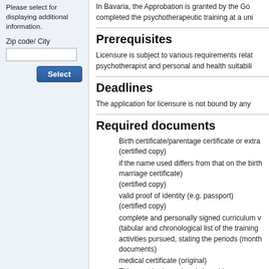Please select for displaying additional information.
Zip code/ City
In Bavaria, the Approbation is granted by the Go... completed the psychotherapeutic training at a uni...
Prerequisites
Licensure is subject to various requirements rela... psychotherapist and personal and health suitabili...
Deadlines
The application for licensure is not bound by any...
Required documents
Birth certificate/parentage certificate or extra... (certified copy)
if the name used differs from that on the birth... marriage certificate) (certified copy)
valid proof of identity (e.g. passport) (certified copy)
complete and personally signed curriculum v... (tabular and chronological list of the training... activities pursued, stating the periods (month... documents)
medical certificate (original) This must be issued and signed by a genera... or another state party to the Agreement on th... and bear a practice or clinic stamp. If the pra... German, a German translation of the stamp...